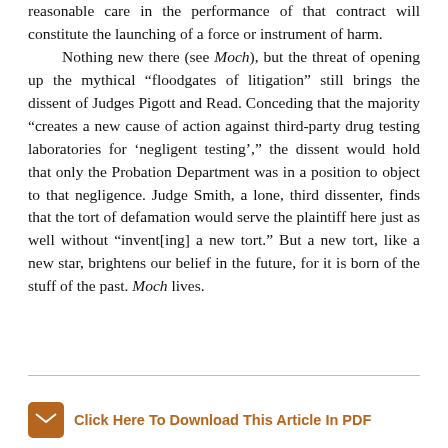reasonable care in the performance of that contract will constitute the launching of a force or instrument of harm.

Nothing new there (see Moch), but the threat of opening up the mythical “floodgates of litigation” still brings the dissent of Judges Pigott and Read. Conceding that the majority “creates a new cause of action against third-party drug testing laboratories for ‘negligent testing’,” the dissent would hold that only the Probation Department was in a position to object to that negligence. Judge Smith, a lone, third dissenter, finds that the tort of defamation would serve the plaintiff here just as well without “invent[ing] a new tort.” But a new tort, like a new star, brightens our belief in the future, for it is born of the stuff of the past. Moch lives.
Click Here To Download This Article In PDF